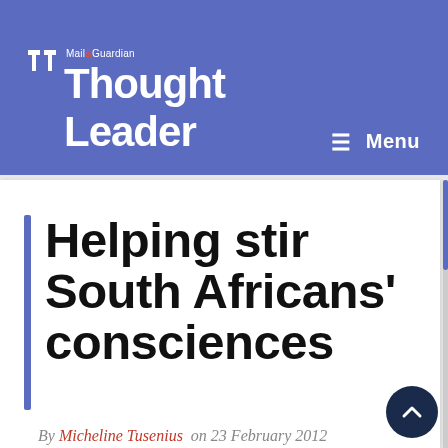Mail & Guardian Thought Leader
Helping stir South Africans' consciences
By Micheline Tusenius on 23 February 2012
That most complex economic relationship — between domestic helper and employer — is well scrutinised in The Help, Kathryn Stockett's New York Times bestselling book